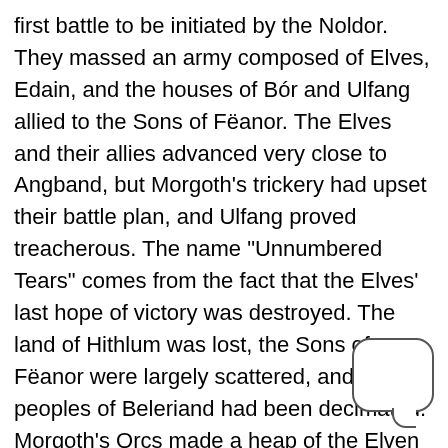first battle to be initiated by the Noldor. They massed an army composed of Elves, Edain, and the houses of Bór and Ulfang allied to the Sons of Fëanor. The Elves and their allies advanced very close to Angband, but Morgoth's trickery had upset their battle plan, and Ulfang proved treacherous. The name "Unnumbered Tears" comes from the fact that the Elves' last hope of victory was destroyed. The land of Hithlum was lost, the Sons of Fëanor were largely scattered, and the peoples of Beleriand had been decimated. Morgoth's Orcs made a heap of the Elven and Mannish dead in the centre of Anfauglith.
The War of Wrath took place after Eärendil sailed to Valinor and persuaded the Valar to help those whom they had forsaken. The Valar gathered an army of Maiar, Vanyar, and those Noldor who had stayed in Valinor. The Teleri refused their aid, due to an old offence dealt them by the Noldor of Beleriand, but consented to ferry the armies of the Valar in their...